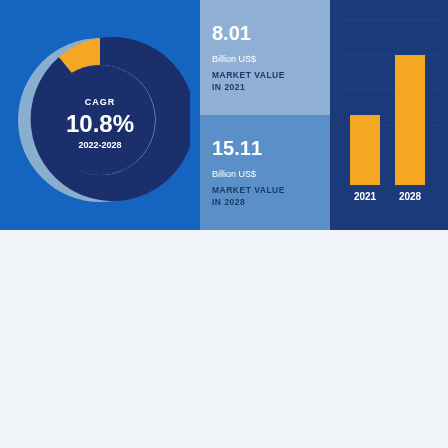[Figure (donut-chart): Donut chart showing CAGR of 10.8% for period 2022-2028, dark navy blue with orange segment]
[Figure (bar-chart): Market Value 2021 vs 2028]
KEY PLAYERS
Ultratrex Machinery SDN. BHD.,
Marsh Buggies, Inc.,
Wi,
Doosan Infracore's Construction Equipment
[Figure (map): World map showing regions: North America, Europe, Asia Pacific with location pins]